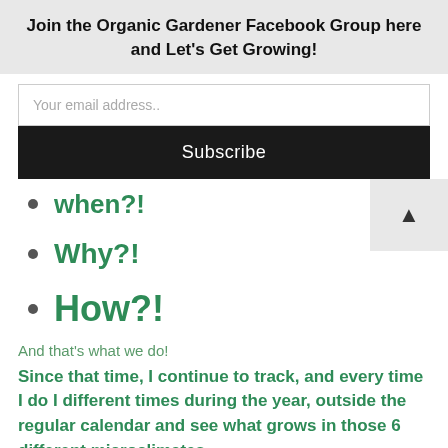Join the Organic Gardener Facebook Group here and Let's Get Growing!
Your email address..
Subscribe
when?!
Why?!
How?!
And that's what we do!
Since that time, I continue to track, and every time I do I different times during the year, outside the regular calendar and see what grows in those 6 different microclimates.
At one point I had 24 different microclimates, but